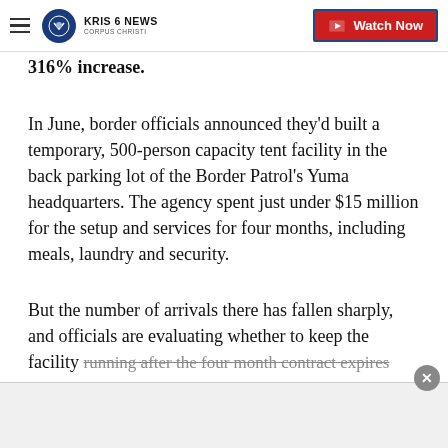KRIS 6 NEWS CORPUS CHRISTI — Watch Now
316% increase.
In June, border officials announced they'd built a temporary, 500-person capacity tent facility in the back parking lot of the Border Patrol's Yuma headquarters. The agency spent just under $15 million for the setup and services for four months, including meals, laundry and security.
But the number of arrivals there has fallen sharply, and officials are evaluating whether to keep the facility running after the four month contract expires next